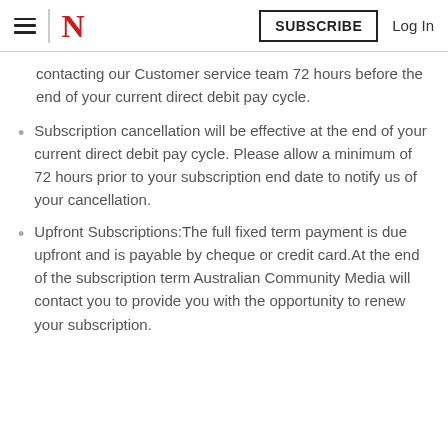N  SUBSCRIBE  Log In
contacting our Customer service team 72 hours before the end of your current direct debit pay cycle.
Subscription cancellation will be effective at the end of your current direct debit pay cycle. Please allow a minimum of 72 hours prior to your subscription end date to notify us of your cancellation.
Upfront Subscriptions:The full fixed term payment is due upfront and is payable by cheque or credit card.At the end of the subscription term Australian Community Media will contact you to provide you with the opportunity to renew your subscription.